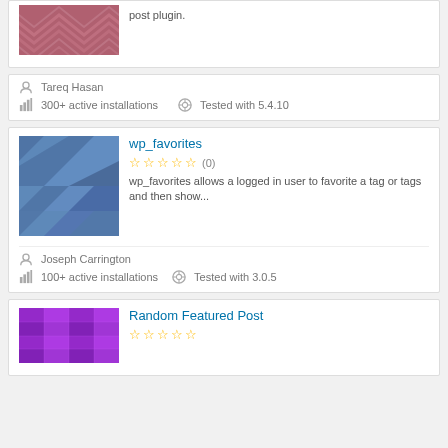[Figure (illustration): Plugin thumbnail with dark pink/mauve chevron wave pattern]
post plugin.
Tareq Hasan
300+ active installations
Tested with 5.4.10
[Figure (illustration): Plugin thumbnail with blue geometric low-poly triangle pattern]
wp_favorites
(0)
wp_favorites allows a logged in user to favorite a tag or tags and then show...
Joseph Carrington
100+ active installations
Tested with 3.0.5
[Figure (illustration): Plugin thumbnail with purple/magenta grid pattern]
Random Featured Post